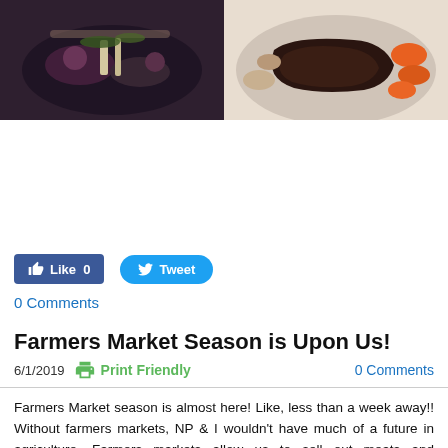[Figure (photo): Two food photos side by side: left shows a dark pot with vegetables and herbs, right shows cooked meat with vegetables on a plate]
[Figure (screenshot): Facebook Like button showing Like 0 and Twitter Tweet button]
0 Comments
Farmers Market Season is Upon Us!
6/1/2019   Print Friendly   0 Comments
Farmers Market season is almost here! Like, less than a week away!! Without farmers markets, NP & I wouldn't have much of a future in agriculture. Farmers markets allow us to sell out meats and vegetables directly to you our number one customer.
When NP and I decided to start farming, we knew we wanted to do pretty much anything besides row crops and feedlot/confinement